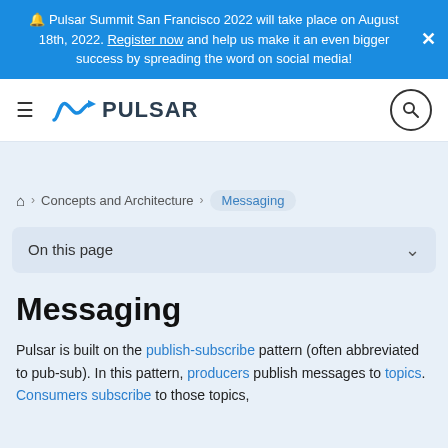🔔 Pulsar Summit San Francisco 2022 will take place on August 18th, 2022. Register now and help us make it an even bigger success by spreading the word on social media!
[Figure (logo): Pulsar logo with hamburger menu icon on left and search button on right]
🏠 > Concepts and Architecture > Messaging
On this page
Messaging
Pulsar is built on the publish-subscribe pattern (often abbreviated to pub-sub). In this pattern, producers publish messages to topics. Consumers subscribe to those topics,